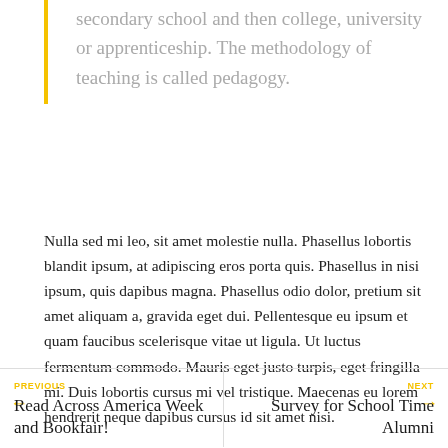secondary school and then college, university or apprenticeship. The methodology of teaching is called pedagogy.
Nulla sed mi leo, sit amet molestie nulla. Phasellus lobortis blandit ipsum, at adipiscing eros porta quis. Phasellus in nisi ipsum, quis dapibus magna. Phasellus odio dolor, pretium sit amet aliquam a, gravida eget dui. Pellentesque eu ipsum et quam faucibus scelerisque vitae ut ligula. Ut luctus fermentum commodo. Mauris eget justo turpis, eget fringilla mi. Duis lobortis cursus mi vel tristique. Maecenas eu lorem hendrerit neque dapibus cursus id sit amet nisi.
PREVIOUS
Read Across America Week and Bookfair!
NEXT
Survey for School Time Alumni